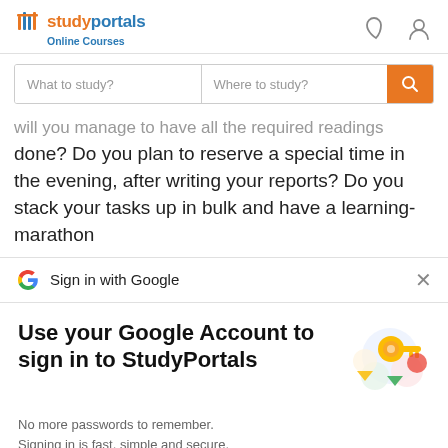[Figure (logo): StudyPortals Online Courses logo with column icon]
[Figure (screenshot): Search bar with 'What to study?' and 'Where to study?' inputs and orange search button]
will you manage to have all the required readings done? Do you plan to reserve a special time in the evening, after writing your reports? Do you stack your tasks up in bulk and have a learning-marathon
Sign in with Google
Use your Google Account to sign in to StudyPortals
No more passwords to remember.
Signing in is fast, simple and secure.
[Figure (illustration): Colorful Google key and circles illustration]
Continue